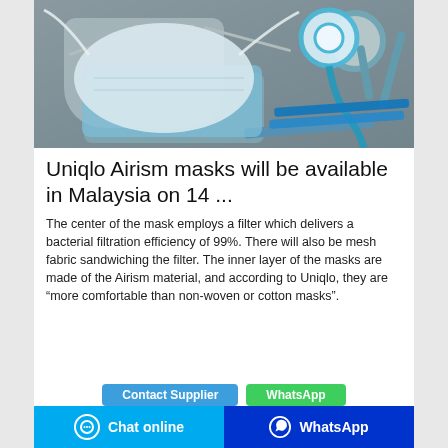[Figure (photo): Medical face mask with strings and a stethoscope on a grey wooden background, with blue surgical masks and pens]
Uniqlo Airism masks will be available in Malaysia on 14 ...
The center of the mask employs a filter which delivers a bacterial filtration efficiency of 99%. There will also be mesh fabric sandwiching the filter. The inner layer of the masks are made of the Airism material, and according to Uniqlo, they are “more comfortable than non-woven or cotton masks”.
Contact Supplier   WhatsApp   Chat online   WhatsApp